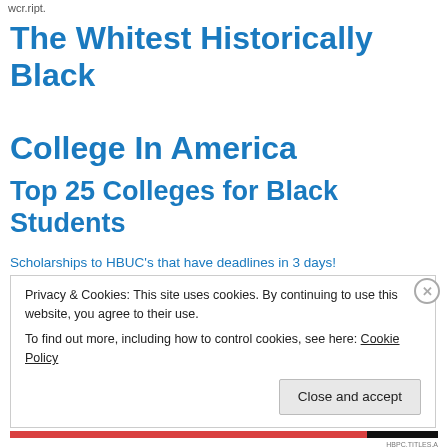wcr.ript.
The Whitest Historically Black College In America
Top 25 Colleges for Black Students
Scholarships to HBUC's that have deadlines in 3 days!
Privacy & Cookies: This site uses cookies. By continuing to use this website, you agree to their use.
To find out more, including how to control cookies, see here: Cookie Policy
Close and accept